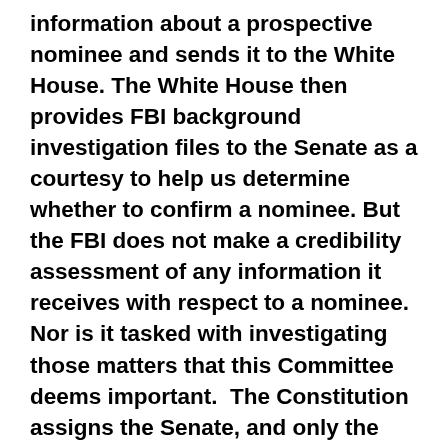information about a prospective nominee and sends it to the White House. The White House then provides FBI background investigation files to the Senate as a courtesy to help us determine whether to confirm a nominee. But the FBI does not make a credibility assessment of any information it receives with respect to a nominee. Nor is it tasked with investigating those matters that this Committee deems important.  The Constitution assigns the Senate, and only the Senate, with the task of advising the President on his nominees and consenting if the circumstances merit. We have no power to commandeer an Executive Branch agency into conducting our due diligence. The job of